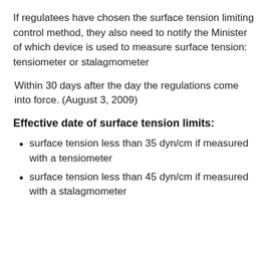If regulatees have chosen the surface tension limiting control method, they also need to notify the Minister of which device is used to measure surface tension: tensiometer or stalagmometer
Within 30 days after the day the regulations come into force. (August 3, 2009)
Effective date of surface tension limits:
surface tension less than 35 dyn/cm if measured with a tensiometer
surface tension less than 45 dyn/cm if measured with a stalagmometer